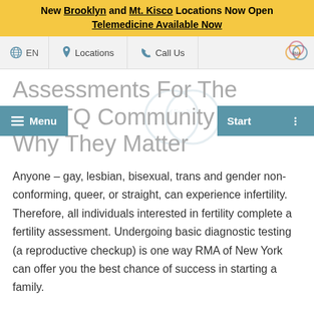New Brooklyn and Mt. Kisco Locations Now Open
Telemedicine Available Now
[Figure (screenshot): Navigation bar with globe/EN, location pin/Locations, phone/Call Us icons, and RMA logo]
Assessments For The LGBTQ Community - And Why They Matter
Anyone – gay, lesbian, bisexual, trans and gender non-conforming, queer, or straight, can experience infertility. Therefore, all individuals interested in fertility complete a fertility assessment. Undergoing basic diagnostic testing (a reproductive checkup) is one way RMA of New York can offer you the best chance of success in starting a family.